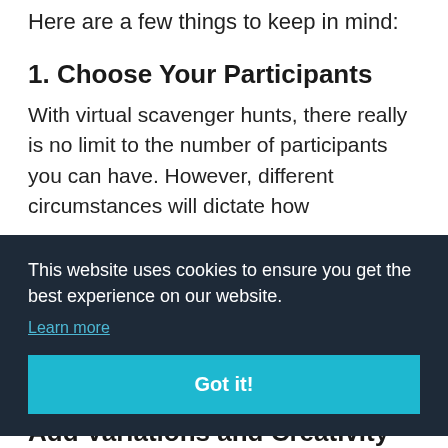Here are a few things to keep in mind:
1. Choose Your Participants
With virtual scavenger hunts, there really is no limit to the number of participants you can have. However, different circumstances will dictate how
This website uses cookies to ensure you get the best experience on our website.
Learn more
Got it!
nen
Add Variations and Creativity